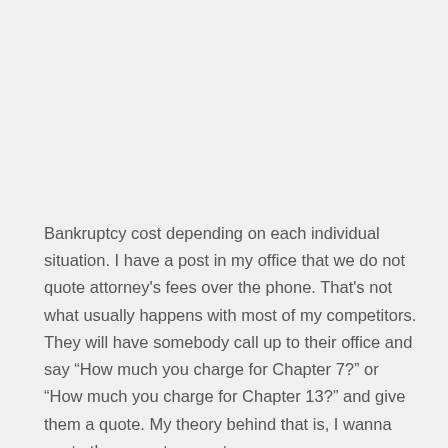Bankruptcy cost depending on each individual situation. I have a post in my office that we do not quote attorney's fees over the phone. That's not what usually happens with most of my competitors. They will have somebody call up to their office and say “How much you charge for Chapter 7?” or “How much you charge for Chapter 13?” and give them a quote. My theory behind that is, I wanna quote the correct amount